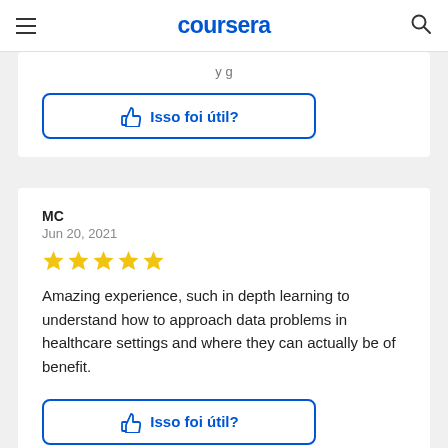coursera
[Figure (screenshot): Partial bottom of a previous review card showing a thumbs-up 'Isso foi útil?' button]
MC
Jun 20, 2021
Amazing experience, such in depth learning to understand how to approach data problems in healthcare settings and where they can actually be of benefit.
Isso foi útil?